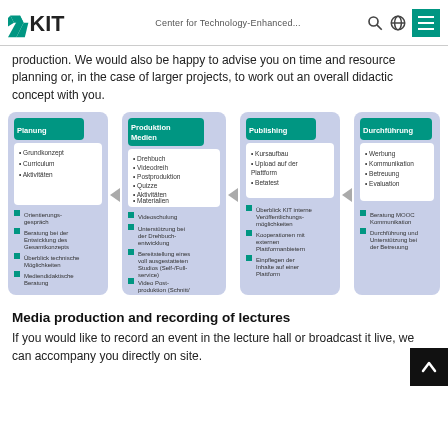KIT – Center for Technology-Enhanced...
production. We would also be happy to advise you on time and resource planning or, in the case of larger projects, to work out an overall didactic concept with you.
[Figure (flowchart): Four-stage flowchart with stages: Planung (Grundkonzept, Curriculum, Aktivitäten), Produktion Medien (Drehbuch, Videodreih, Postproduktion, Quizze, Aktivitäten, Materialien), Publishing (Kursaufbau, Upload auf der Plattform, Betatest), Durchführung (Werbung, Kommunikation, Betreuung, Evaluation). Each stage has bullet points below: Orientierungsgespräch, Beratung bei der Entwicklung des Gesamtkonzepts, Überblick technische Möglichkeiten, Mediendidaktische Beratung | Videoschulung, Unterstützung bei der Drehbuchentwicklung, Bereitstellung eines voll ausgestatteten Studios (Self-/Full-service), Video Postproduktion (Schnitt/Animation/Übersetzung) | Überblick KIT interne Veröffentlichungsmöglichkeiten, Kooperationen mit externen Plattformanbietern, Einpflegen der Inhalte auf einer Plattform | Beratung MOOC Kommunikation, Durchführung und Unterstützung bei der Betreuung]
Media production and recording of lectures
If you would like to record an event in the lecture hall or broadcast it live, we can accompany you directly on site.